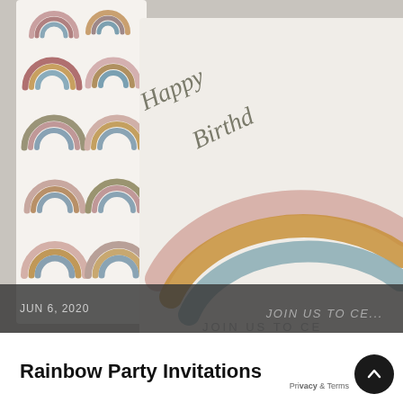[Figure (photo): Two rainbow-themed birthday cards overlapping. Left card shows a repeating pattern of colorful rainbow arcs in muted tones (pink, olive, brown, blue, taupe) on cream background. Right card shows a single large rainbow painted in brushstroke style with pink, golden/amber, and teal arcs on cream background, with cursive script 'Happy Birthd...' and printed text 'JOIN US TO CE...' visible. The background has a dark translucent banner at the bottom showing 'JUN 6, 2020'.]
JUN 6, 2020
Rainbow Party Invitations